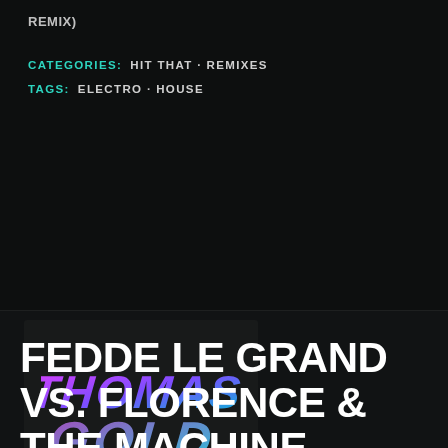REMIX)
CATEGORIES: HIT THAT · REMIXES
TAGS: ELECTRO · HOUSE
[Figure (logo): Thomas Gold logo with graffiti-style text and 'FREE BOOTLEG EP DOWNLOAD' text below]
FEDDE LE GRAND VS. FLORENCE & THE MACHINE – TURN IT + YOU'VE GOT THE LOVE